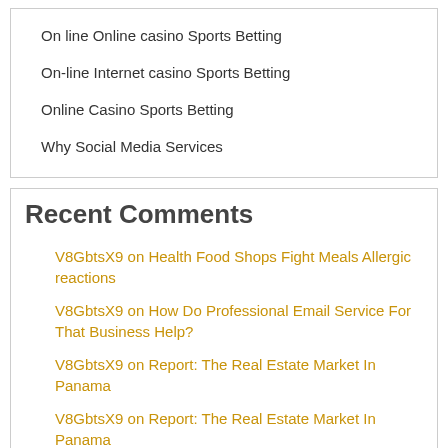On line Online casino Sports Betting
On-line Internet casino Sports Betting
Online Casino Sports Betting
Why Social Media Services
Recent Comments
V8GbtsX9 on Health Food Shops Fight Meals Allergic reactions
V8GbtsX9 on How Do Professional Email Service For That Business Help?
V8GbtsX9 on Report: The Real Estate Market In Panama
V8GbtsX9 on Report: The Real Estate Market In Panama